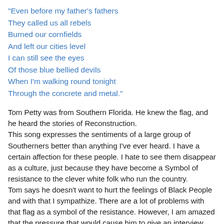"Even before my father's fathers
They called us all rebels
Burned our cornfields
And left our cities level
I can still see the eyes
Of those blue bellied devils
When I'm walking round tonight
Through the concrete and metal."
Tom Petty was from Southern Florida. He knew the flag, and he heard the stories of Reconstruction.
This song expresses the sentiments of a large group of Southerners better than anything I've ever heard. I have a certain affection for these people. I hate to see them disappear as a culture, just because they have become a Symbol of resistance to the clever white folk who run the country.
Tom says he doesn't want to hurt the feelings of Black People and with that I sympathize. There are a lot of problems with that flag as a symbol of the resistance. However, I am amazed that the pressure that would cause him to give an interview disavowing his Southern Heritage